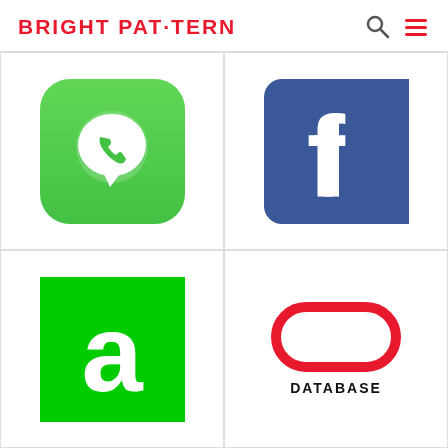BRIGHT PATTERN
[Figure (logo): WhatsApp logo - green rounded square with white phone handset in speech bubble]
[Figure (logo): Facebook logo - blue rounded square with white lowercase f]
[Figure (logo): Appointy logo - green square with white lowercase letter a]
[Figure (logo): Database logo - red rounded rectangle outline pill shape with text DATABASE below]